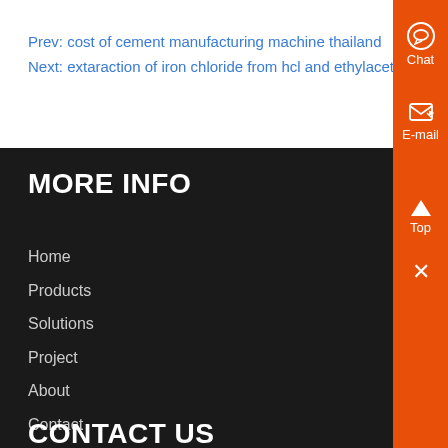Prev: cost of cement manufacturing machine thailand
Next: extaraction of iron chloride from hcl and ethylacetate
MORE INFO
Home
Products
Solutions
Project
About
Contact
CONTACT US